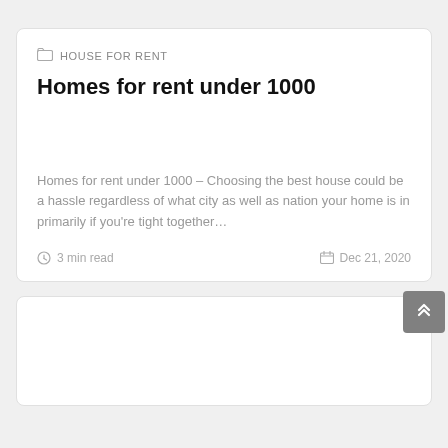HOUSE FOR RENT
Homes for rent under 1000
Homes for rent under 1000 – Choosing the best house could be a hassle regardless of what city as well as nation your home is in primarily if you're tight together…
3 min read   Dec 21, 2020